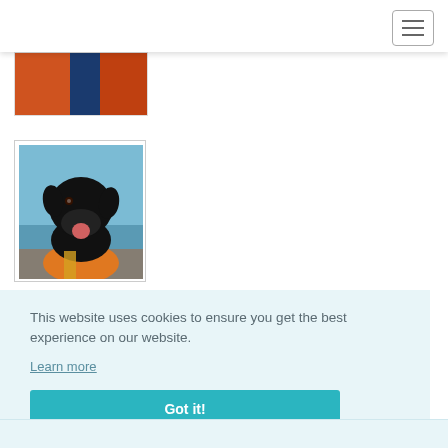Navigation bar with hamburger menu
[Figure (photo): Partial image showing people in orange jackets, cropped at top]
Perfect Fit
[Figure (photo): Black Labrador dog wearing an orange life jacket on a boat, water visible in background]
This website uses cookies to ensure you get the best experience on our website.
Learn more
Got it!